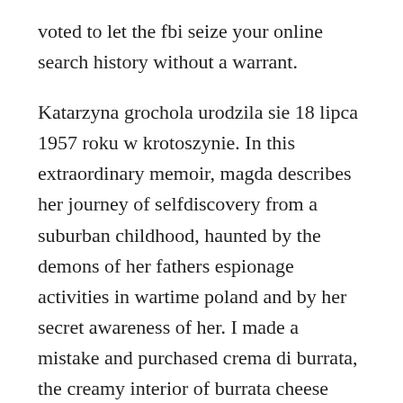voted to let the fbi seize your online search history without a warrant.
Katarzyna grochola urodzila sie 18 lipca 1957 roku w krotoszynie. In this extraordinary memoir, magda describes her journey of selfdiscovery from a suburban childhood, haunted by the demons of her fathers espionage activities in wartime poland and by her secret awareness of her. I made a mistake and purchased crema di burrata, the creamy interior of burrata cheese without the mozzarella shella happy mistake in the end